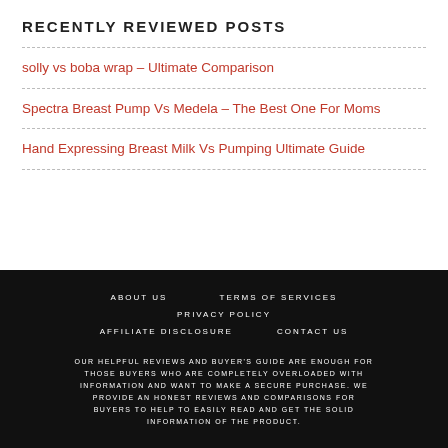RECENTLY REVIEWED POSTS
solly vs boba wrap – Ultimate Comparison
Spectra Breast Pump Vs Medela – The Best One For Moms
Hand Expressing Breast Milk Vs Pumping Ultimate Guide
ABOUT US   TERMS OF SERVICES   PRIVACY POLICY   AFFILIATE DISCLOSURE   CONTACT US
OUR HELPFUL REVIEWS AND BUYER'S GUIDE ARE ENOUGH FOR THOSE BUYERS WHO ARE COMPLETELY OVERLOADED WITH INFORMATION AND WANT TO MAKE A SECURE PURCHASE. WE PROVIDE AN HONEST REVIEWS AND COMPARISONS FOR BUYERS TO HELP TO EASILY READ AND GET THE SOLID INFORMATION OF THE PRODUCT.